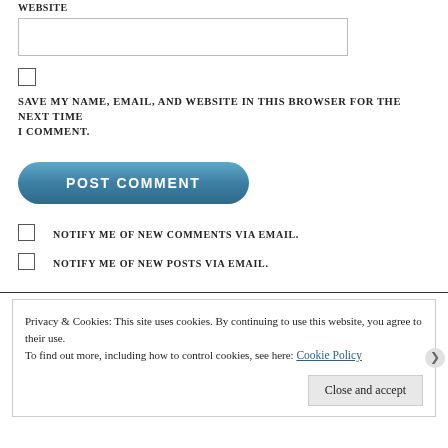WEBSITE
[Figure (screenshot): Empty text input field for website URL]
[Figure (screenshot): Checkbox unchecked]
SAVE MY NAME, EMAIL, AND WEBSITE IN THIS BROWSER FOR THE NEXT TIME I COMMENT.
[Figure (screenshot): POST COMMENT button, blue rounded rectangle]
[Figure (screenshot): Checkbox unchecked - notify me of new comments]
NOTIFY ME OF NEW COMMENTS VIA EMAIL.
[Figure (screenshot): Checkbox unchecked - notify me of new posts]
NOTIFY ME OF NEW POSTS VIA EMAIL.
Privacy & Cookies: This site uses cookies. By continuing to use this website, you agree to their use. To find out more, including how to control cookies, see here: Cookie Policy
Close and accept